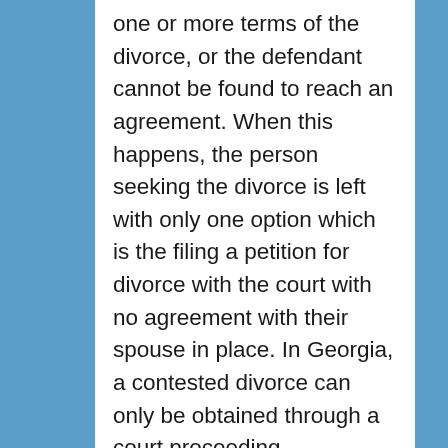one or more terms of the divorce, or the defendant cannot be found to reach an agreement. When this happens, the person seeking the divorce is left with only one option which is the filing a petition for divorce with the court with no agreement with their spouse in place. In Georgia, a contested divorce can only be obtained through a court proceeding (specifically in Superior Court). A copy of this complaint is served on the other spouse, usually by the sheriff or private process server. If the spouse cannot be found and served, then service by publication is usually an option. The spouse who has been served with a complaint should consult a lawyer as soon as possible for help answering and